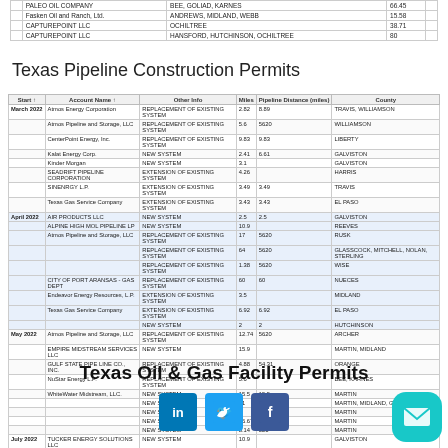|  | Account Name | Other Info | Miles | Pipeline Distance (miles) | County |
| --- | --- | --- | --- | --- | --- |
|  | PALEO OIL COMPANY | BEE, GOLIAD, KARNES | 66.45 |  |  |
|  | Fasken Oil and Ranch, Ltd. | ANDREWS, MIDLAND, WEBB | 15.58 |  |  |
|  | CAPTUREPOINT LLC | OCHILTREE | 38.71 |  |  |
|  | CAPTUREPOINT LLC | HANSFORD, HUTCHINSON, OCHILTREE | 80 |  |  |
Texas Pipeline Construction Permits
| Start | Account Name | Other Info | Miles | Pipeline Distance (miles) | County |
| --- | --- | --- | --- | --- | --- |
| March 2022 | Atmos Energy Corporation | REPLACEMENT OF EXISTING SYSTEM | 2.82 | 8.89 | TRAVIS, WILLIAMSON |
|  | Atmos Pipeline and Storage, LLC | REPLACEMENT OF EXISTING SYSTEM | 5.6 | 5620 | WILLIAMSON |
|  | CenterPoint Energy, Inc. | REPLACEMENT OF EXISTING SYSTEM | 9.83 | 9.83 | LIBERTY |
|  | Kalat Energy Corp. | NEW SYSTEM | 2.41 | 6.61 | GALVISTON |
|  | Kinder Morgan | NEW SYSTEM | 3.1 |  | GALVISTON |
|  | SEADRIFT PIPELINE CORPORATION | EXTENSION OF EXISTING SYSTEM | 4.26 |  | HARRIS |
|  | SINENRGY L.P. | EXTENSION OF EXISTING SYSTEM | 3.49 | 3.49 | TRAVIS |
|  | Texas Gas Service Company | EXTENSION OF EXISTING SYSTEM | 3.43 | 3.43 | EL PASO |
| April 2022 | AIR PRODUCTS LLC | NEW SYSTEM | 2.5 | 2.5 | GALVISTON |
|  | ALPINE HIGH MOL PIPELINE LP | NEW SYSTEM | 10.9 |  | REEVES |
|  | Atmos Pipeline and Storage, LLC | REPLACEMENT OF EXISTING SYSTEM | 17 | 5620 | RUSK |
|  |  | REPLACEMENT OF EXISTING SYSTEM | 64 | 5620 | GLASSCOCK, MITCHELL, NOLAN, STERLING |
|  |  | REPLACEMENT OF EXISTING SYSTEM | 1.38 | 5620 | WISE |
|  | CITY OF PORT ARANSAS - GAS DEPT | REPLACEMENT OF EXISTING SYSTEM | 60 | 60 | NUECES |
|  | Endeavor Energy Resources, L.P. | EXTENSION OF EXISTING SYSTEM | 3.5 |  | MIDLAND |
|  | Texas Gas Service Company | EXTENSION OF EXISTING SYSTEM | 6.92 | 6.92 | EL PASO |
|  |  | NEW SYSTEM | 2 | 2 | HUTCHINSON |
| May 2022 | Atmos Pipeline and Storage, LLC | REPLACEMENT OF EXISTING SYSTEM | 12.74 | 5620 | ARCHER |
|  | EMPIRE MIDSTREAM SERVICES LLC | NEW SYSTEM | 15.9 |  | MARTIN, MIDLAND |
|  | GULF STATE PIPE LINE CO., INC. | REPLACEMENT OF EXISTING SYSTEM | 4.88 | 54.31 | ORANGE |
|  | NuStar Energy L.P. | REPLACEMENT OF EXISTING SYSTEM | 5.6 |  | BEE, KARNES |
|  | WhiteWater Midstream, LLC. | NEW SYSTEM | 15.5 | 15.5 | MARTIN |
|  |  | NEW SYSTEM | 31 | 31 | MARTIN, MIDLAND, GLASSCOCK |
|  |  | NEW SYSTEM | 4 | 521 | MARTIN |
|  |  | NEW SYSTEM | 36.67 | 521 | MARTIN |
|  |  | NEW SYSTEM | 8.14 | 521 | MARTIN |
| July 2022 | TUCKER ENERGY SOLUTIONS LLC | NEW SYSTEM | 10.9 |  | GALVISTON |
|  | WhiteWater Midstream, LLC. | NEW SYSTEM | 39.41 |  | NUECES, SAN PATRICIO |
Texas Oil & Gas Facility Permits